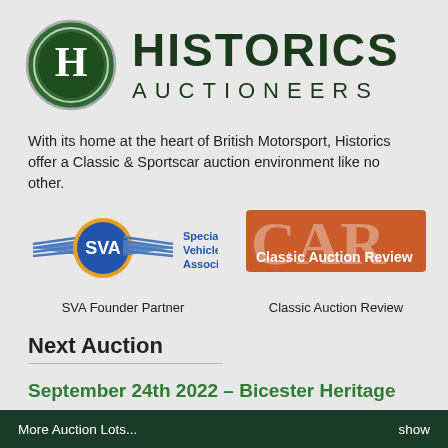[Figure (logo): Historics Auctioneers logo with green circular H badge and large dark green HISTORICS AUCTIONEERS text]
With its home at the heart of British Motorsport, Historics offer a Classic & Sportscar auction environment like no other.
[Figure (logo): SVA Specialist Vehicle Associates logo with blue/gold winged badge]
SVA Founder Partner
[Figure (logo): Classic Auction Review orange logo with CAR letters]
Classic Auction Review
Next Auction
September 24th 2022 – Bicester Heritage
More Auction Lots...    show